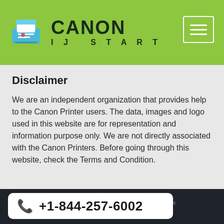CANON IJ START
Disclaimer
We are an independent organization that provides help to the Canon Printer users. The data, images and logo used in this website are for representation and information purpose only. We are not directly associated with the Canon Printers. Before going through this website, check the Terms and Condition.
Privacy Policy | Contact Us | Term And Conditions
© Copyright 2022 | All Rights Reserved.
+1-844-257-6002